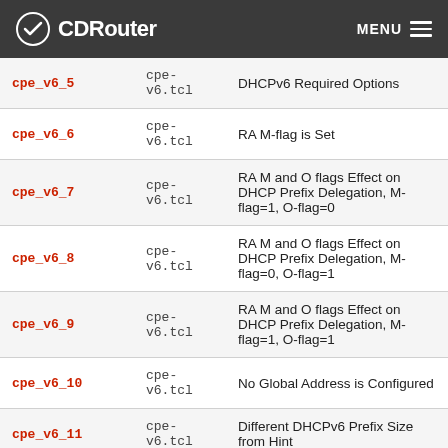CDRouter MENU
| Test | File | Description |
| --- | --- | --- |
| cpe_v6_5 | cpe-v6.tcl | DHCPv6 Required Options |
| cpe_v6_6 | cpe-v6.tcl | RA M-flag is Set |
| cpe_v6_7 | cpe-v6.tcl | RA M and O flags Effect on DHCP Prefix Delegation, M-flag=1, O-flag=0 |
| cpe_v6_8 | cpe-v6.tcl | RA M and O flags Effect on DHCP Prefix Delegation, M-flag=0, O-flag=1 |
| cpe_v6_9 | cpe-v6.tcl | RA M and O flags Effect on DHCP Prefix Delegation, M-flag=1, O-flag=1 |
| cpe_v6_10 | cpe-v6.tcl | No Global Address is Configured |
| cpe_v6_11 | cpe-v6.tcl | Different DHCPv6 Prefix Size from Hint |
| cpe_v6_12 | cpe-v6.tcl | Prevent Forwarding Loops |